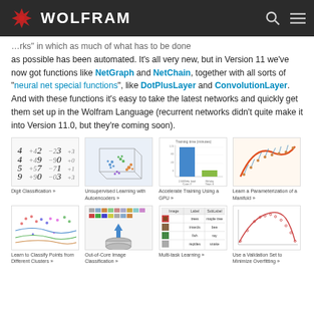WOLFRAM
"networks" in which as much of what has to be done as possible has been automated. It's all very new, but in Version 11 we've now got functions like NetGraph and NetChain, together with all sorts of "neural net special functions", like DotPlusLayer and ConvolutionLayer. And with these functions it's easy to take the latest networks and quickly get them set up in the Wolfram Language (recurrent networks didn't quite make it into Version 11.0, but they're coming soon).
[Figure (illustration): Digit Classification thumbnail showing handwritten digits with numeric annotations]
Digit Classification »
[Figure (illustration): Unsupervised Learning with Autoencoders thumbnail showing a 3D scatter plot of colored point clusters]
Unsupervised Learning with Autoencoders »
[Figure (bar-chart): Bar chart comparing training time on CPU vs GPU]
Accelerate Training Using a GPU »
[Figure (illustration): Learn a Parameterization of a Manifold thumbnail showing a curved surface with arrows]
Learn a Parameterization of a Manifold »
[Figure (illustration): Learn to Classify Points from Different Clusters thumbnail showing colored scatter with overlapping curves]
Learn to Classify Points from Different Clusters »
[Figure (illustration): Out-of-Core Image Classification thumbnail showing a grid of small images and an arrow pointing upward at a hard drive]
Out-of-Core Image Classification »
[Figure (table-as-image): Multi-task Learning thumbnail showing a table with Image, Label, SubLabel columns with tree/insects/fish/reptiles rows]
Multi-task Learning »
[Figure (line-chart): Use a Validation Set to Minimize Overfitting thumbnail showing a peaked curve with scatter points]
Use a Validation Set to Minimize Overfitting »